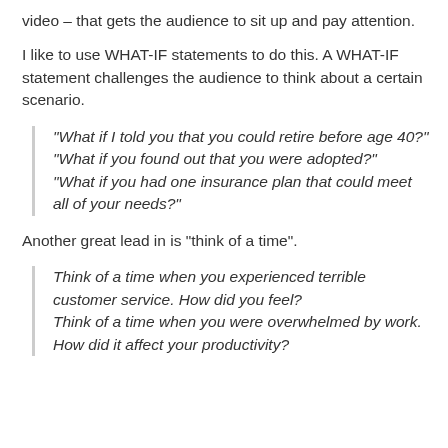video – that gets the audience to sit up and pay attention.
I like to use WHAT-IF statements to do this. A WHAT-IF statement challenges the audience to think about a certain scenario.
“What if I told you that you could retire before age 40?”
“What if you found out that you were adopted?”
“What if you had one insurance plan that could meet all of your needs?”
Another great lead in is “think of a time”.
Think of a time when you experienced terrible customer service. How did you feel?
Think of a time when you were overwhelmed by work. How did it affect your productivity?